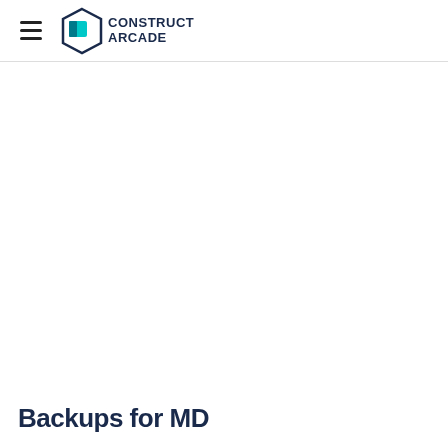≡ Construct Arcade
Backups for MD